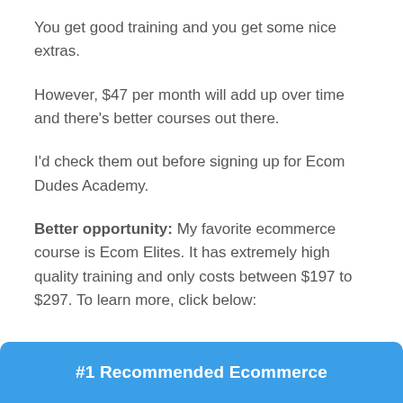You get good training and you get some nice extras.
However, $47 per month will add up over time and there's better courses out there.
I'd check them out before signing up for Ecom Dudes Academy.
Better opportunity: My favorite ecommerce course is Ecom Elites. It has extremely high quality training and only costs between $197 to $297. To learn more, click below:
#1 Recommended Ecommerce